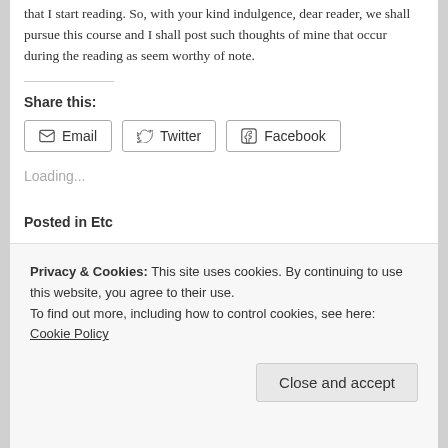that I start reading. So, with your kind indulgence, dear reader, we shall pursue this course and I shall post such thoughts of mine that occur during the reading as seem worthy of note.
Share this:
Email  Twitter  Facebook
Loading...
Posted in Etc
Privacy & Cookies: This site uses cookies. By continuing to use this website, you agree to their use.
To find out more, including how to control cookies, see here: Cookie Policy
Close and accept
there is no loose change in my pockets.